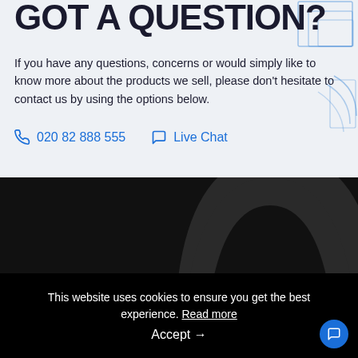GOT A QUESTION?
If you have any questions, concerns or would simply like to know more about the products we sell, please don't hesitate to contact us by using the options below.
020 82 888 555  Live Chat
PRODUCTS
Data Storage Devices
Data Storage Drives
Batteries & Power Supplies
This website uses cookies to ensure you get the best experience. Read more
Accept →